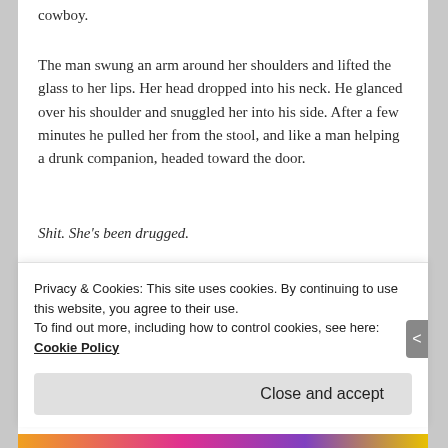cowboy.
The man swung an arm around her shoulders and lifted the glass to her lips. Her head dropped into his neck. He glanced over his shoulder and snuggled her into his side. After a few minutes he pulled her from the stool, and like a man helping a drunk companion, headed toward the door.
Shit. She's been drugged.
ALSO BY TINA SUSEDIK:
[Figure (photo): Partial book cover image showing a brownish/tan surface]
Privacy & Cookies: This site uses cookies. By continuing to use this website, you agree to their use.
To find out more, including how to control cookies, see here: Cookie Policy